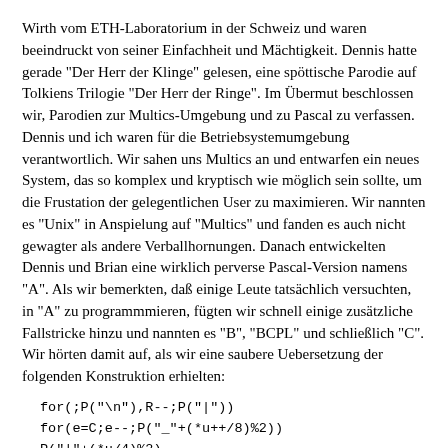Wirth vom ETH-Laboratorium in der Schweiz und waren beeindruckt von seiner Einfachheit und Mächtigkeit. Dennis hatte gerade "Der Herr der Klinge" gelesen, eine spöttische Parodie auf Tolkiens Trilogie "Der Herr der Ringe". Im Übermut beschlossen wir, Parodien zur Multics-Umgebung und zu Pascal zu verfassen. Dennis und ich waren für die Betriebsystemumgebung verantwortlich. Wir sahen uns Multics an und entwarfen ein neues System, das so komplex und kryptisch wie möglich sein sollte, um die Frustation der gelegentlichen User zu maximieren. Wir nannten es "Unix" in Anspielung auf "Multics" und fanden es auch nicht gewagter als andere Verballhornungen. Danach entwickelten Dennis und Brian eine wirklich perverse Pascal-Version namens "A". Als wir bemerkten, daß einige Leute tatsächlich versuchten, in "A" zu programmmieren, fügten wir schnell einige zusätzliche Fallstricke hinzu und nannten es "B", "BCPL" und schließlich "C". Wir hörten damit auf, als wir eine saubere Uebersetzung der folgenden Konstruktion erhielten:
Der Gedanke, daß moderne Programmierer eine Sprache benutzen würden, die solch eine Anweisung zuließ, lag jenseits unseres Vorstellungsvermögens. Wir dachten allerdings daran, alles den Sowiets zu verkaufen, um ihren Computerfortschritt 20 Jahre und